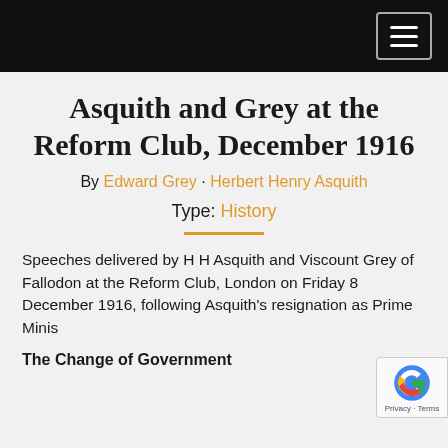[Navigation bar]
Asquith and Grey at the Reform Club, December 1916
By Edward Grey · Herbert Henry Asquith
Type: History
Speeches delivered by H H Asquith and Viscount Grey of Fallodon at the Reform Club, London on Friday 8 December 1916, following Asquith's resignation as Prime Minis[ter]
The Change of Government